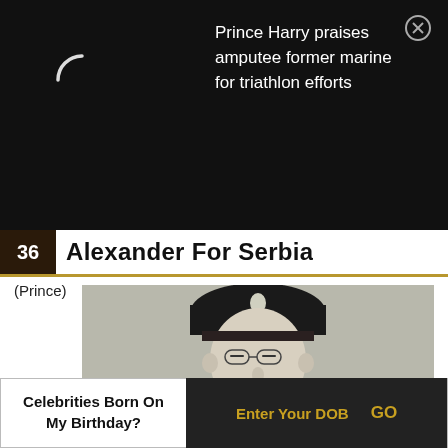Prince Harry praises amputee former marine for triathlon efforts
36 Alexander For Serbia
(Prince)
[Figure (photo): Black and white portrait photograph of a man wearing a dark military-style hat and uniform with a mustache, identified as Alexander for Serbia (Prince).]
Celebrities Born On My Birthday?
Enter Your DOB
GO